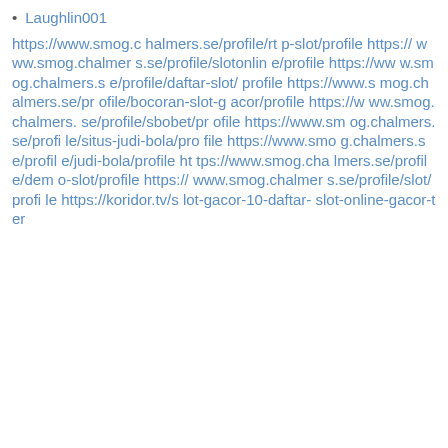Laughlin001
https://www.smog.chalmers.se/profile/rtp-slot/profile https://www.smog.chalmers.se/profile/slotonline/profile https://www.smog.chalmers.se/profile/daftar-slot/profile https://www.smog.chalmers.se/profile/bocoran-slot-gacor/profile https://www.smog.chalmers.se/profile/sbobet/profile https://www.smog.chalmers.se/profile/situs-judi-bola/profile https://www.smog.chalmers.se/profile/judi-bola/profile https://www.smog.chalmers.se/profile/demo-slot/profile https://www.smog.chalmers.se/profile/slot/profile https://koridor.tv/slot-gacor-10-daftar-slot-online-gacor-ter